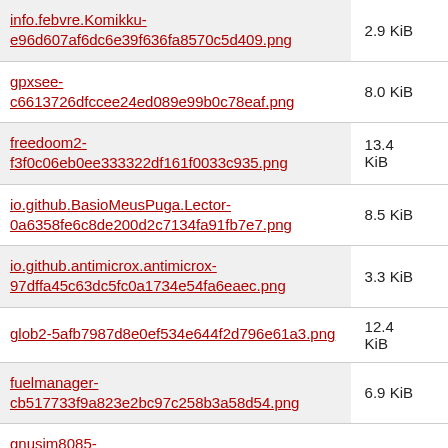| File | Size |
| --- | --- |
| info.febvre.Komikku-e96d607af6dc6e39f636fa8570c5d409.png | 2.9 KiB |
| gpxsee-c6613726dfccee24ed089e99b0c78eaf.png | 8.0 KiB |
| freedoom2-f3f0c06eb0ee333322df161f0033c935.png | 13.4 KiB |
| io.github.BasioMeusPuga.Lector-0a6358fe6c8de200d2c7134fa91fb7e7.png | 8.5 KiB |
| io.github.antimicrox.antimicrox-97dffa45c63dc5fc0a1734e54fa6eaec.png | 3.3 KiB |
| glob2-5afb7987d8e0ef534e644f2d796e61a3.png | 12.4 KiB |
| fuelmanager-cb517733f9a823e2bc97c258b3a58d54.png | 6.9 KiB |
| gnusim8085-24cdbb621f84328be4996007c94e26f1.png | 6.4 KiB |